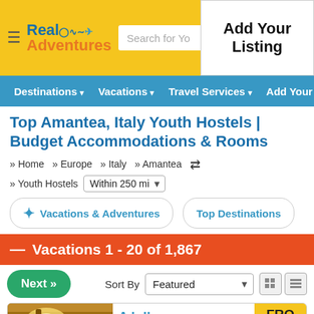Real Adventures — Search for Your destination — Add Your Listing
Destinations ▾   Vacations ▾   Travel Services ▾   Add Your Listing
Top Amantea, Italy Youth Hostels | Budget Accommodations & Rooms
» Home   » Europe   » Italy   » Amantea ⇄
» Youth Hostels  Within 250 mi
✦ Vacations & Adventures   Top Destinations
Vacations 1 - 20 of 1,867
Next »   Sort By  Featured
A lolly atmosphere in
FROM USD